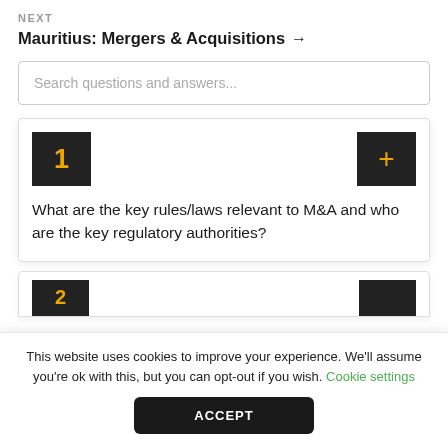NEXT
Mauritius: Mergers & Acquisitions →
Search questions and answers...
1
+
What are the key rules/laws relevant to M&A and who are the key regulatory authorities?
This website uses cookies to improve your experience. We'll assume you're ok with this, but you can opt-out if you wish. Cookie settings
ACCEPT